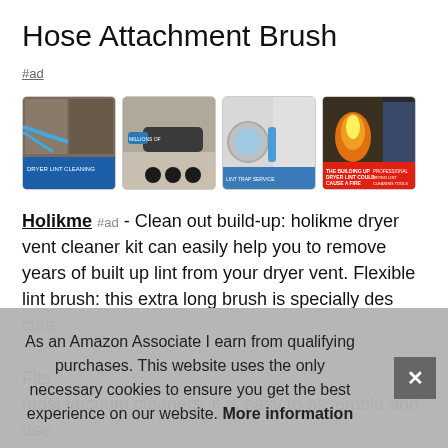Hose Attachment Brush
#ad
[Figure (photo): Four product images showing a dryer vent cleaning brush kit in use. Images show the brush in dryer vents, flexible brush attachment, and a fire safety warning about dryer lint buildup.]
Holikme #ad - Clean out build-up: holikme dryer vent cleaner kit can easily help you to remove years of built up lint from your dryer vent. Flexible lint brush: this extra long brush is specially des[igned to reach deep into difficult to] clea[n areas...] Fits [most vacuum cleaners, it is easy to assemble and use.]
As an Amazon Associate I earn from qualifying purchases. This website uses the only necessary cookies to ensure you get the best experience on our website. More information